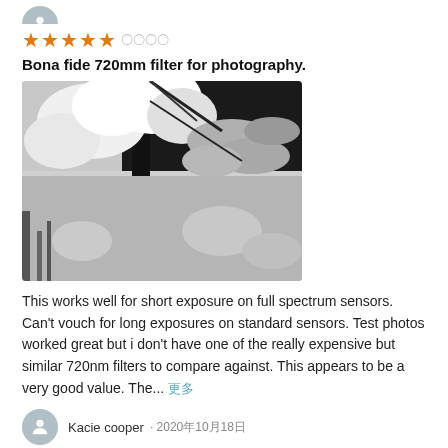[Figure (other): User avatar icon (circle with person silhouette)]
★★★★★ 〇〇〇〇
Bona fide 720mm filter for photography.
[Figure (photo): Black and white infrared photo of snow-covered trees and cloudy sky]
This works well for short exposure on full spectrum sensors. Can't vouch for long exposures on standard sensors. Test photos worked great but i don't have one of the really expensive but similar 720nm filters to compare against. This appears to be a very good value. The... 更多
[Figure (other): User avatar icon (circle with person silhouette) for Kacie cooper]
Kacie cooper · 2020年10月18日
★★★★★ 〇〇〇〇
Infared photography